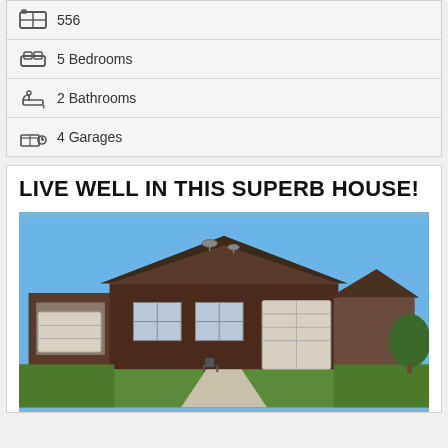556
5 Bedrooms
2 Bathrooms
4 Garages
LIVE WELL IN THIS SUPERB HOUSE!
[Figure (photo): Exterior photo of a single-storey brick house with tiled roof under a clear blue sky, featuring a double garage door and green lawn driveway.]